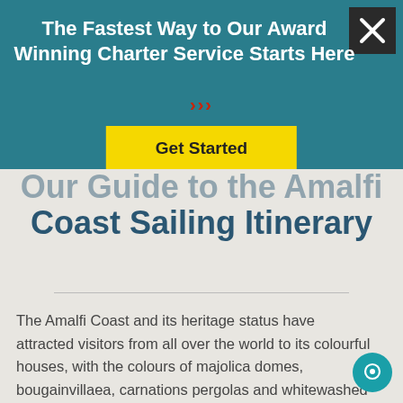The Fastest Way to Our Award Winning Charter Service Starts Here
>>>
Get Started
Our Guide to the Amalfi Coast Sailing Itinerary
The Amalfi Coast and its heritage status have attracted visitors from all over the world to its colourful houses, with the colours of majolica domes, bougainvillaea, carnations pergolas and whitewashed houses.